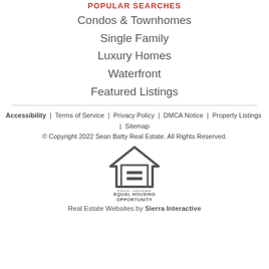POPULAR SEARCHES
Condos & Townhomes
Single Family
Luxury Homes
Waterfront
Featured Listings
Accessibility  |  Terms of Service  |  Privacy Policy  |  DMCA Notice  |  Property Listings  |  Sitemap
© Copyright 2022 Sean Batty Real Estate. All Rights Reserved.
[Figure (logo): Equal Housing Opportunity logo — house outline with equals sign inside]
Real Estate Websites by Sierra Interactive